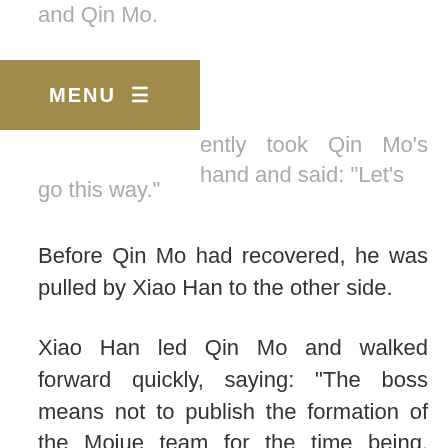and Qin Mo.
[Figure (other): Navigation menu bar with gold/olive background showing MENU with hamburger icon]
ently took Qin Mo's hand and said: "Let's go this way."
Before Qin Mo had recovered, he was pulled by Xiao Han to the other side.
Xiao Han led Qin Mo and walked forward quickly, saying: "The boss means not to publish the formation of the Mojue team for the time being. You'd better not let the reporters know about your coming to Changsha. There are a lot of clubs that have moved in Peerless Jianghu. The members of the new teams of other clubs are confidential, and we can't make too much publicity."
Qin Mo of course understands this truth, but the problem is, Xiao Han unexpectedly took his